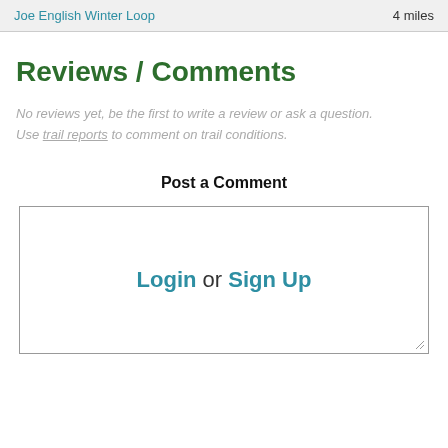Joe English Winter Loop    4 miles
Reviews / Comments
No reviews yet, be the first to write a review or ask a question. Use trail reports to comment on trail conditions.
Post a Comment
Login or Sign Up